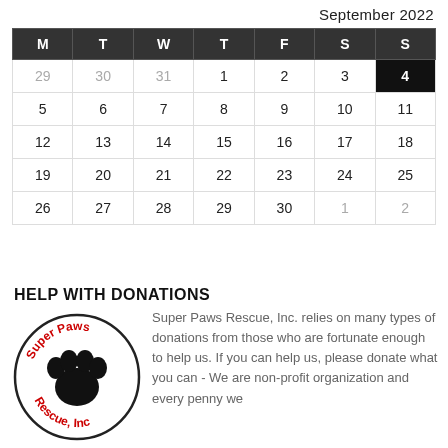September 2022
| M | T | W | T | F | S | S |
| --- | --- | --- | --- | --- | --- | --- |
| 29 | 30 | 31 | 1 | 2 | 3 | 4 |
| 5 | 6 | 7 | 8 | 9 | 10 | 11 |
| 12 | 13 | 14 | 15 | 16 | 17 | 18 |
| 19 | 20 | 21 | 22 | 23 | 24 | 25 |
| 26 | 27 | 28 | 29 | 30 | 1 | 2 |
HELP WITH DONATIONS
[Figure (logo): Super Paws Rescue, Inc. circular logo with paw print]
Super Paws Rescue, Inc. relies on many types of donations from those who are fortunate enough to help us. If you can help us, please donate what you can - We are non-profit organization and every penny we